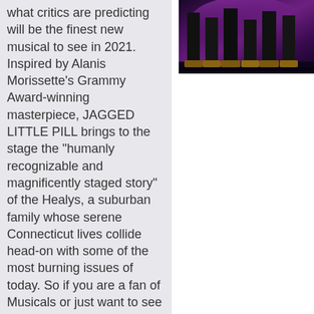what critics are predicting will be the finest new musical to see in 2021. Inspired by Alanis Morissette's Grammy Award-winning masterpiece, JAGGED LITTLE PILL brings to the stage the "humanly recognizable and magnificently staged story" of the Healys, a suburban family whose serene Connecticut lives collide head-on with some of the most burning issues of today. So if you are a fan of Musicals or just want to see the
[Figure (photo): Stage performance photo showing performers' legs from below in dark costumes with gold shoes/boots against a purple and dark stage background]